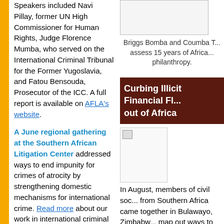Speakers included Navi Pillay, former UN High Commissioner for Human Rights, Judge Florence Mumba, who served on the International Criminal Tribunal for the Former Yugoslavia, and Fatou Bensouda, Prosecutor of the ICC. A full report is available on AFLA's website.
A June regional gathering at the Southern African Litigation Center addressed ways to end impunity for crimes of atrocity by strengthening domestic mechanisms for international crime. Read more about our work in international criminal justice.
Briggs Bomba and Coumba T... assess 15 years of Africa... philanthropy.
Curbing Illicit Financial Fl... out of Africa
[Figure (photo): Photo related to Curbing Illicit Financial Flows out of Africa]
In August, members of civil soc... from Southern Africa came together in Bulawayo, Zimbabw... map out ways to stop illicit fina... flows out of Africa. Recognizing... that IFFs are a major obstacle... inclusive development, we are... working with allies across the...